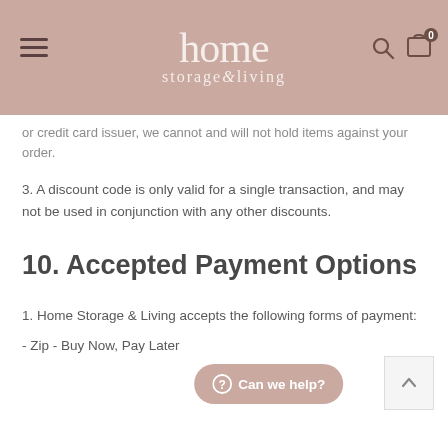home storage & living
or credit card issuer, we cannot and will not hold items against your order.
3. A discount code is only valid for a single transaction, and may not be used in conjunction with any other discounts.
10. Accepted Payment Options
1. Home Storage & Living accepts the following forms of payment:
- Zip - Buy Now, Pay Later